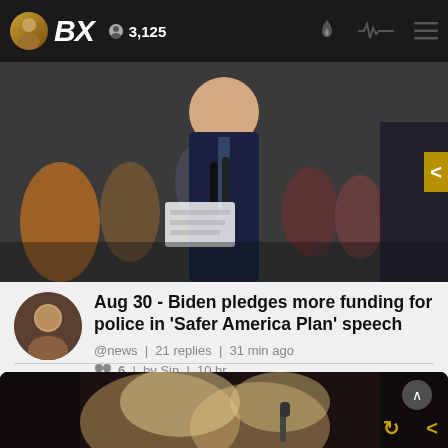BX  3,125
[Figure (photo): A man in a dark suit speaking at a podium with microphones, crowd visible in the background]
Aug 30 - Biden pledges more funding for police in 'Safer America Plan' speech
@news | 21 replies | 31 min ago
6 | by Sin | 10 hr
[Figure (photo): Two women close together, one appears to be kissing or talking closely to another woman holding a microphone]